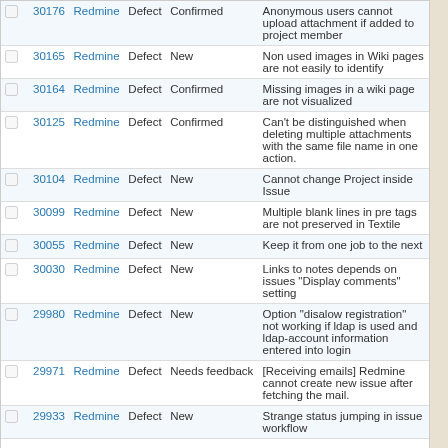|  | # | Project | Tracker | Status | Subject |
| --- | --- | --- | --- | --- | --- |
|  | 30176 | Redmine | Defect | Confirmed | Anonymous users cannot upload attachment if added to project member |
|  | 30165 | Redmine | Defect | New | Non used images in Wiki pages are not easily to identify |
|  | 30164 | Redmine | Defect | Confirmed | Missing images in a wiki page are not visualized |
|  | 30125 | Redmine | Defect | Confirmed | Can't be distinguished when deleting multiple attachments with the same file name in one action. |
|  | 30104 | Redmine | Defect | New | Cannot change Project inside Issue |
|  | 30099 | Redmine | Defect | New | Multiple blank lines in pre tags are not preserved in Textile |
|  | 30055 | Redmine | Defect | New | Keep it from one job to the next |
|  | 30030 | Redmine | Defect | New | Links to notes depends on issues "Display comments" setting |
|  | 29980 | Redmine | Defect | New | Option "disalow registration" not working if ldap is used and ldap-account information entered into login |
|  | 29971 | Redmine | Defect | Needs feedback | [Receiving emails] Redmine cannot create new issue after fetching the mail. |
|  | 29933 | Redmine | Defect | New | Strange status jumping in issue workflow |
« Previous 1 ... 5 6 7 8 9 ... 98 Next » (301-350/4866) Per page: 25, 50, 100